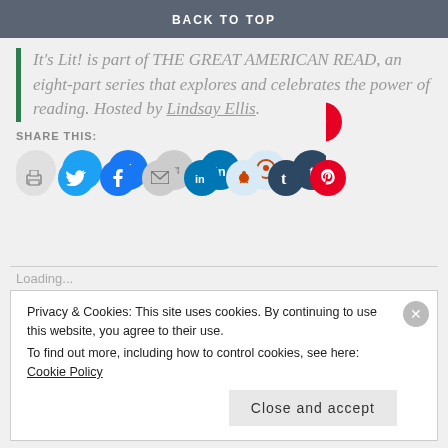BACK TO TOP
It's Lit! is part of THE GREAT AMERICAN READ, an eight-part series that explores and celebrates the power of reading. Hosted by Lindsay Ellis.
SHARE THIS:
[Figure (other): Row of social share icon buttons: print, Twitter, Facebook, email, LinkedIn, Reddit, Tumblr, Pinterest]
Loading...
Privacy & Cookies: This site uses cookies. By continuing to use this website, you agree to their use. To find out more, including how to control cookies, see here: Cookie Policy
Close and accept